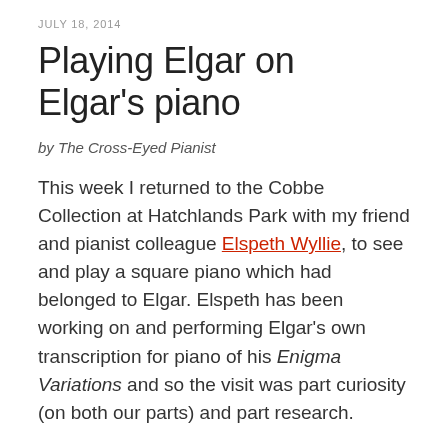JULY 18, 2014
Playing Elgar on Elgar's piano
by The Cross-Eyed Pianist
This week I returned to the Cobbe Collection at Hatchlands Park with my friend and pianist colleague Elspeth Wyllie, to see and play a square piano which had belonged to Elgar. Elspeth has been working on and performing Elgar's own transcription for piano of his Enigma Variations and so the visit was part curiosity (on both our parts) and part research.